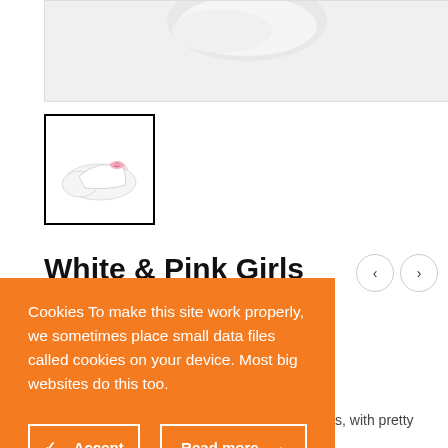[Figure (photo): Cropped top portion of white patent leather baby shoes with pink bow, main product image]
[Figure (photo): Thumbnail of white patent leather baby girls pre-walker shoes with pink bow, selected state with black border]
White & Pink Girls
Cookies To make this site work properly, we sometimes place small data files called cookies on your device. Most big websites do this too.
Baby girls white patent leather pre-walker shoes, with pretty